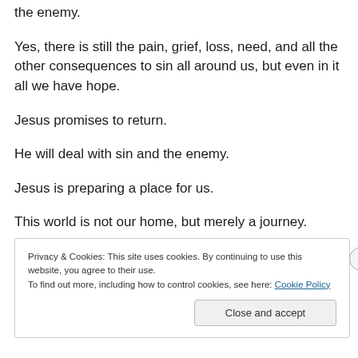the enemy.
Yes, there is still the pain, grief, loss, need, and all the other consequences to sin all around us, but even in it all we have hope.
Jesus promises to return.
He will deal with sin and the enemy.
Jesus is preparing a place for us.
This world is not our home, but merely a journey.
Privacy & Cookies: This site uses cookies. By continuing to use this website, you agree to their use. To find out more, including how to control cookies, see here: Cookie Policy
Close and accept